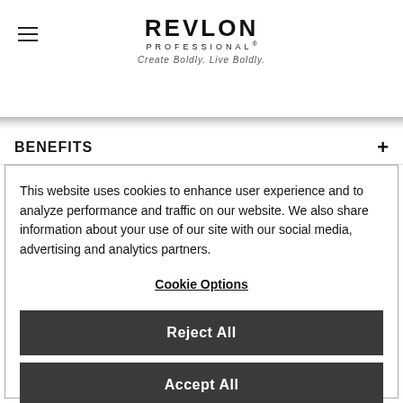REVLON PROFESSIONAL® — Create Boldly. Live Boldly.
BENEFITS +
This website uses cookies to enhance user experience and to analyze performance and traffic on our website. We also share information about your use of our site with our social media, advertising and analytics partners.
Cookie Options
Reject All
Accept All